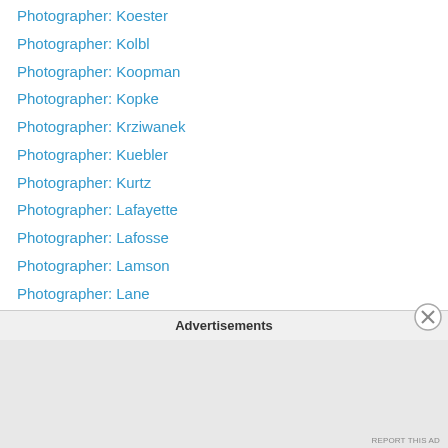Photographer: Koester
Photographer: Kolbl
Photographer: Koopman
Photographer: Kopke
Photographer: Krziwanek
Photographer: Kuebler
Photographer: Kurtz
Photographer: Lafayette
Photographer: Lafosse
Photographer: Lamson
Photographer: Lane
Photographer: Langhans
Photographer: Langley
Photographer: Lansil
Photographer: Larson
Photographer: Latto
Photographer: Lawrence
Advertisements
REPORT THIS AD